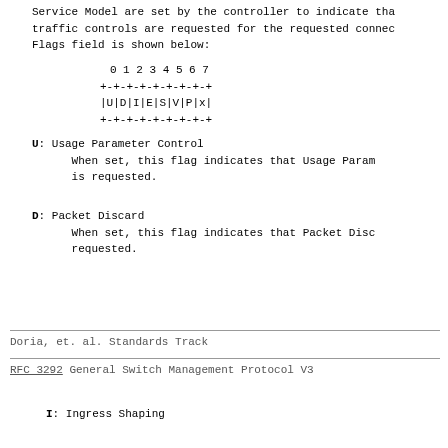Service Model are set by the controller to indicate tha
traffic controls are requested for the requested connec
Flags field is shown below:
[Figure (schematic): Bit field diagram showing 8 bits labeled 0-7 with fields U|D|I|E|S|V|P|x]
U: Usage Parameter Control
     When set, this flag indicates that Usage Param
     is requested.
D: Packet Discard
     When set, this flag indicates that Packet Disc
     requested.
Doria, et. al.                Standards Track
RFC 3292        General Switch Management Protocol V3
I: Ingress Shaping